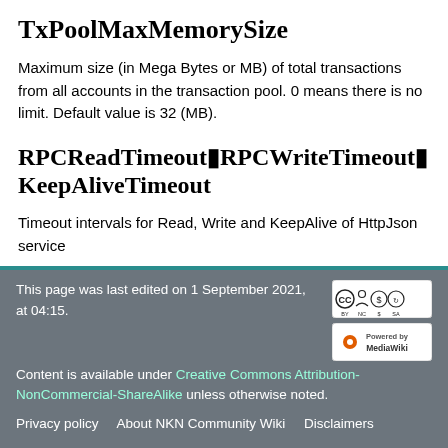TxPoolMaxMemorySize
Maximum size (in Mega Bytes or MB) of total transactions from all accounts in the transaction pool. 0 means there is no limit. Default value is 32 (MB).
RPCReadTimeout▮RPCWriteTimeout▮KeepAliveTimeout
Timeout intervals for Read, Write and KeepAlive of HttpJson service
This page was last edited on 1 September 2021, at 04:15.
Content is available under Creative Commons Attribution-NonCommercial-ShareAlike unless otherwise noted.
Privacy policy   About NKN Community Wiki   Disclaimers